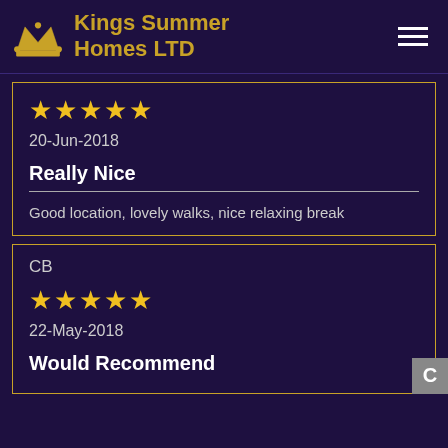Kings Summer Homes LTD
★★★★★
20-Jun-2018
Really Nice
Good location, lovely walks, nice relaxing break
CB
★★★★★
22-May-2018
Would Recommend